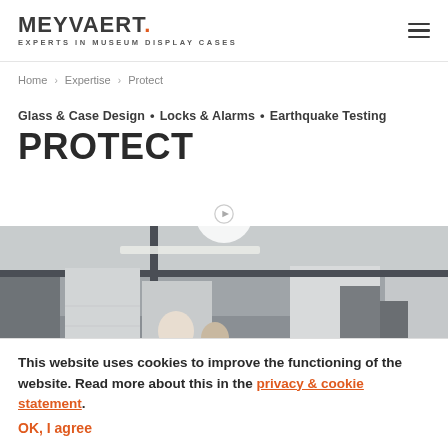MEYVAERT. EXPERTS IN MUSEUM DISPLAY CASES
Home › Expertise › Protect
Glass & Case Design • Locks & Alarms • Earthquake Testing
PROTECT
[Figure (photo): Two workers in a large industrial warehouse/factory space with high ceilings, fluorescent lighting, and large white panels or display cases. A play button circle overlay appears at the top center of the image.]
This website uses cookies to improve the functioning of the website. Read more about this in the privacy & cookie statement. OK, I agree